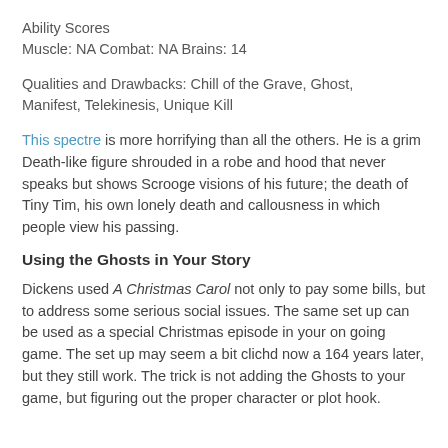Ability Scores
Muscle: NA Combat: NA Brains: 14
Qualities and Drawbacks: Chill of the Grave, Ghost, Manifest, Telekinesis, Unique Kill
This spectre is more horrifying than all the others. He is a grim Death-like figure shrouded in a robe and hood that never speaks but shows Scrooge visions of his future; the death of Tiny Tim, his own lonely death and callousness in which people view his passing.
Using the Ghosts in Your Story
Dickens used A Christmas Carol not only to pay some bills, but to address some serious social issues. The same set up can be used as a special Christmas episode in your on going game. The set up may seem a bit clichd now a 164 years later, but they still work. The trick is not adding the Ghosts to your game, but figuring out the proper character or plot hook.